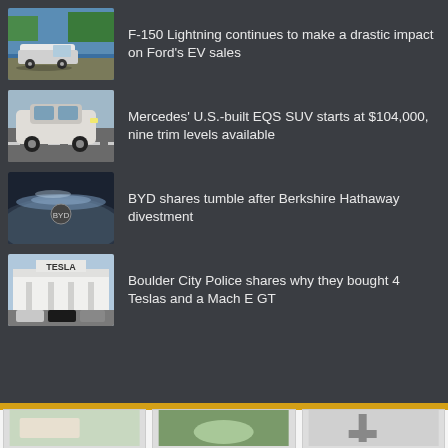F-150 Lightning continues to make a drastic impact on Ford’s EV sales
Mercedes’ U.S.-built EQS SUV starts at $104,000, nine trim levels available
BYD shares tumble after Berkshire Hathaway divestment
Boulder City Police shares why they bought 4 Teslas and a Mach E GT
[Figure (screenshot): Bottom strip with three thumbnail images of vehicles/content]
[Figure (photo): F-150 Lightning truck near water]
[Figure (photo): Mercedes EQS SUV on road]
[Figure (photo): BYD car hood closeup]
[Figure (photo): Tesla dealership exterior]